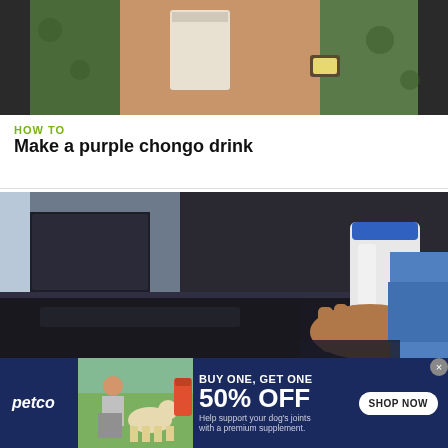[Figure (photo): Close-up photo of a person's torso and arms holding a cup, wearing a watch and patterned shirt]
HOW TO
Make a purple chongo drink
[Figure (photo): Person's hands holding a large white plastic jug/bottle on a dark kitchen counter]
HOW TO
Make hooch or prison alcohol
[Figure (other): Petco advertisement: BUY ONE, GET ONE 50% OFF - Help support your dog's joints with a premium supplement. SHOP NOW button. Image of woman with dog and supplement bottle.]